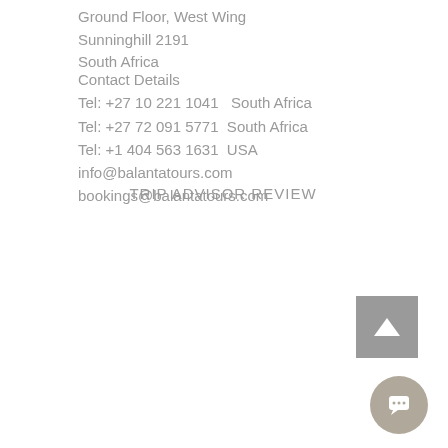Ground Floor, West Wing
Sunninghill 2191
South Africa
Contact Details
Tel:  +27 10 221 1041   South Africa
Tel:  +27 72 091 5771  South Africa
Tel:  +1 404 563 1631  USA
info@balantatours.com
bookings@balantatours.com
TRIP ADVISOR REVIEW
[Figure (other): Scroll to top button — grey square with white upward-pointing chevron/arrow]
[Figure (other): Chat bubble button — round grey circle with speech bubble icon]